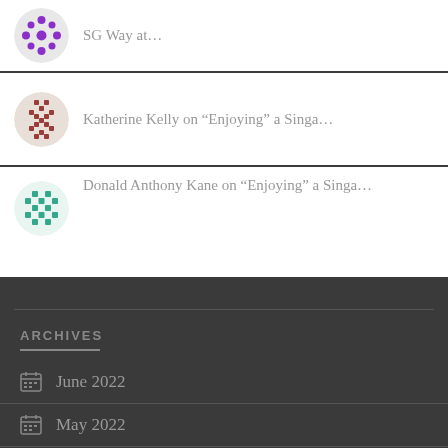SG Way at…
Katherine Kelly on “Enjoying” a Singa…
Donald Anthony Kane on “Enjoying” a Singa…
ARCHIVES
June 2022
May 2022
April 2022